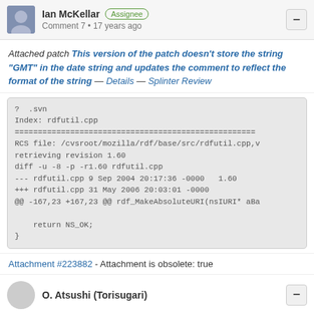Ian McKellar  Assignee  Comment 7 • 17 years ago
Attached patch This version of the patch doesn't store the string "GMT" in the date string and updates the comment to reflect the format of the string — Details — Splinter Review
[Figure (screenshot): Code diff block showing: ?  .svn
Index: rdfutil.cpp
============================
RCS file: /cvsroot/mozilla/rdf/base/src/rdfutil.cpp,v
retrieving revision 1.60
diff -u -8 -p -r1.60 rdfutil.cpp
--- rdfutil.cpp 9 Sep 2004 20:17:36 -0000   1.60
+++ rdfutil.cpp 31 May 2006 20:03:01 -0000
@@ -167,23 +167,23 @@ rdf_MakeAbsoluteURI(nsIURI* aBa
    return NS_OK;
}]
Attachment #223882 - Attachment is obsolete: true
O. Atsushi (Torisugari)